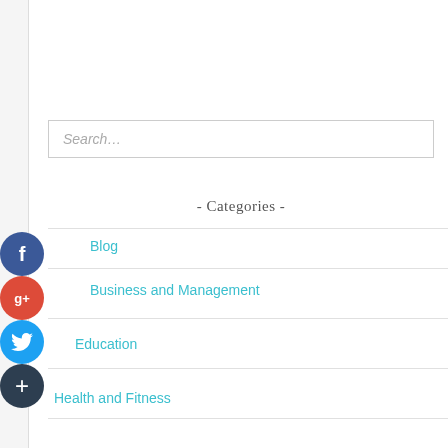Search…
- Categories -
Blog
Business and Management
Education
Health and Fitness